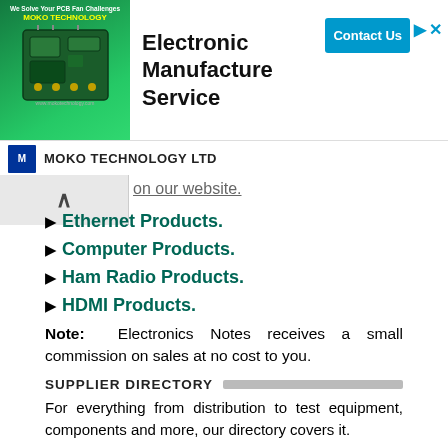[Figure (other): Ad banner for MOKO TECHNOLOGY LTD Electronic Manufacture Service with Contact Us button and close icons]
on our website.
► Ethernet Products.
► Computer Products.
► Ham Radio Products.
► HDMI Products.
Note: Electronics Notes receives a small commission on sales at no cost to you.
SUPPLIER DIRECTORY
For everything from distribution to test equipment, components and more, our directory covers it.
► Check our Supplier Directory
EVENTS
► European Microwave Week